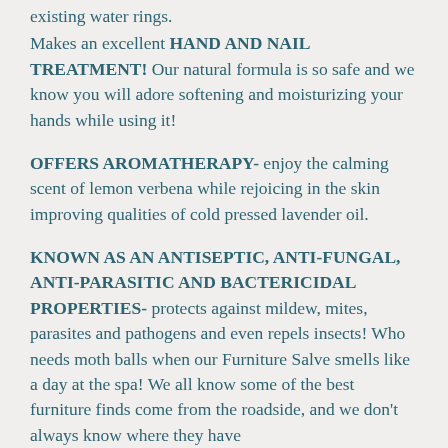existing water rings.
Makes an excellent HAND AND NAIL TREATMENT! Our natural formula is so safe and we know you will adore softening and moisturizing your hands while using it!
OFFERS AROMATHERAPY- enjoy the calming scent of lemon verbena while rejoicing in the skin improving qualities of cold pressed lavender oil.
KNOWN AS AN ANTISEPTIC, ANTI-FUNGAL, ANTI-PARASITIC AND BACTERICIDAL PROPERTIES- protects against mildew, mites, parasites and pathogens and even repels insects! Who needs moth balls when our Furniture Salve smells like a day at the spa! We all know some of the best furniture finds come from the roadside, and we don't always know where they have